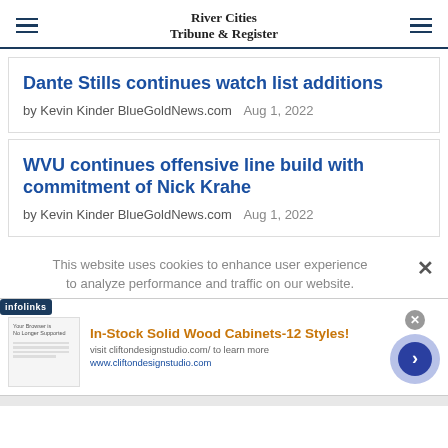River Cities Tribune & Register
Dante Stills continues watch list additions
by Kevin Kinder BlueGoldNews.com   Aug 1, 2022
WVU continues offensive line build with commitment of Nick Krahe
by Kevin Kinder BlueGoldNews.com   Aug 1, 2022
This website uses cookies to enhance user experience to analyze performance and traffic on our website.
In-Stock Solid Wood Cabinets-12 Styles! visit cliftondesignstudio.com/ to learn more www.cliftondesignstudio.com